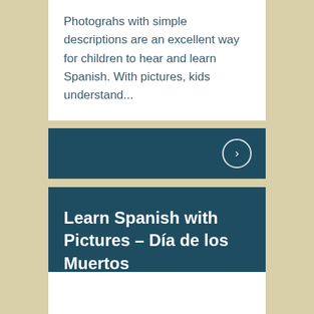Photograhs with simple descriptions are an excellent way for children to hear and learn Spanish. With pictures, kids understand...
[Figure (other): Dark teal navigation bar with a circular arrow icon pointing right on the far right side]
Learn Spanish with Pictures – Día de los Muertos